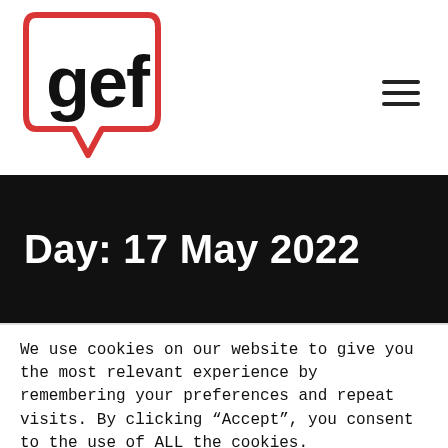[Figure (logo): GEF logo: speech bubble outline in red with 'gef' text in black inside]
Day: 17 May 2022
We use cookies on our website to give you the most relevant experience by remembering your preferences and repeat visits. By clicking “Accept”, you consent to the use of ALL the cookies.
Cookie settings   ACCEPT